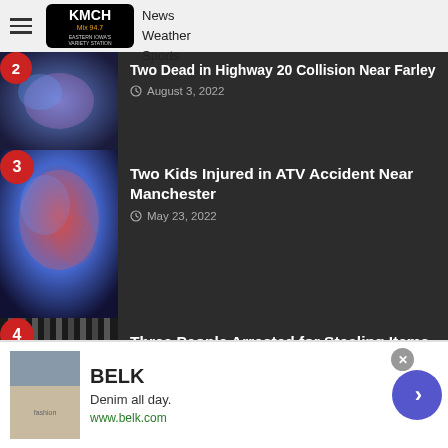KMCH Mix 94.7 — Music News Weather Sports
Two Dead in Highway 20 Collision Near Farley — August 3, 2022
Two Kids Injured in ATV Accident Near Manchester — May 23, 2022
Three People Arrested for Stealing Items from Norby's in Manchester — May 19, 2022
Licenses Suspended for Buchanan...
[Figure (screenshot): Advertisement for Belk — Denim all day. www.belk.com]